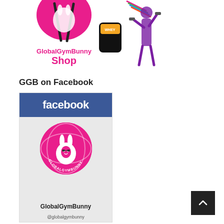[Figure (illustration): GlobalGymBunny Shop promotional image showing a pink drawstring bag with the GlobalGymBunny logo, a whey protein tub, resistance bands, and a woman lifting weights. Text reads 'GlobalGymBunny Shop'.]
GGB on Facebook
[Figure (screenshot): Facebook page widget showing the GlobalGymBunny Facebook page with the blue Facebook header, the GlobalGymBunny circular pink logo, page name 'GlobalGymBunny', handle '@globalgymbunny', and a Like button.]